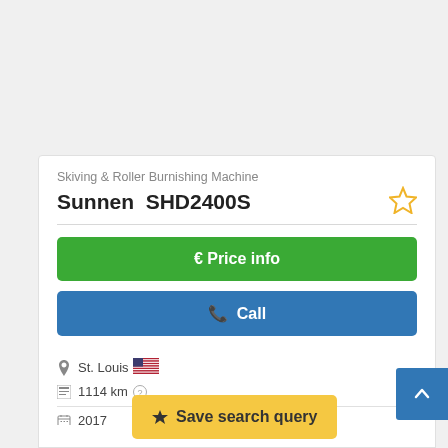Skiving & Roller Burnishing Machine
Sunnen SHD2400S
€ Price info
✆ Call
St. Louis 🇺🇸
1114 km ?
2017
excellent (us...
Save search query